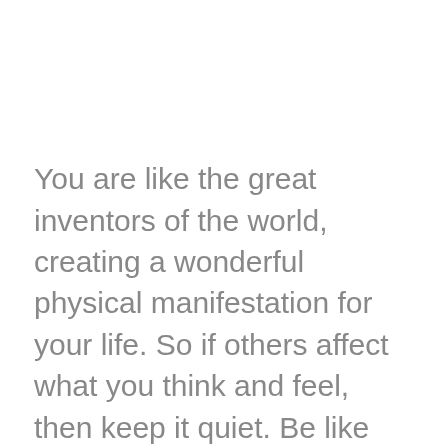You are like the great inventors of the world, creating a wonderful physical manifestation for your life. So if others affect what you think and feel, then keep it quiet. Be like